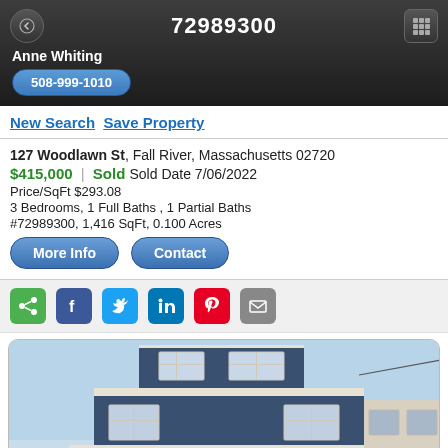72989300
Anne Whiting
508-999-1010
New Search   Save Property
127 Woodlawn St,  Fall River, Massachusetts 02720
$415,000 | Sold  Sold Date 7/06/2022
Price/SqFt $293.08
3 Bedrooms, 1 Full Baths , 1 Partial Baths
#72989300, 1,416 SqFt, 0.100 Acres
[Figure (photo): Exterior photo of a two-story blue craftsman-style house with white trim, white columns on the porch, and a flat roof overhang. Light blue sky in the background with some trees visible.]